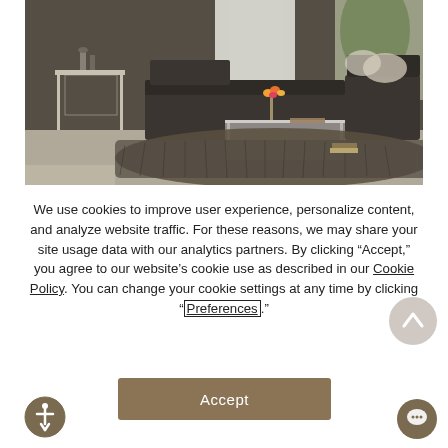[Figure (photo): Interior photo of a modern living room with dark sofa, shag rug, coffee table with flowers, brick wall, and large windows with white curtains]
We use cookies to improve user experience, personalize content, and analyze website traffic. For these reasons, we may share your site usage data with our analytics partners. By clicking “Accept,” you agree to our website’s cookie use as described in our Cookie Policy. You can change your cookie settings at any time by clicking “Preferences.”
Accept